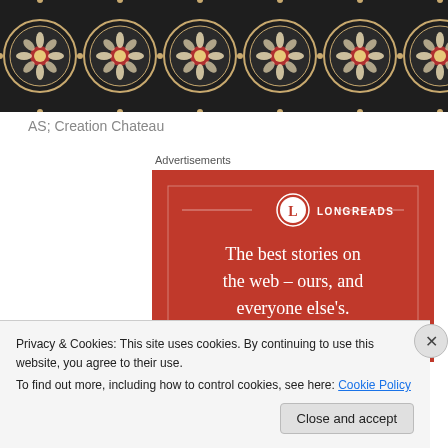[Figure (illustration): Decorative dark background fabric/wallpaper pattern with repeating ornamental medallion motifs in cream and red on dark charcoal/black background]
AS; Creation Chateau
Advertisements
[Figure (infographic): Longreads advertisement on red background. Shows Longreads logo (circle with L) and tagline: The best stories on the web – ours, and everyone else's.]
Privacy & Cookies: This site uses cookies. By continuing to use this website, you agree to their use.
To find out more, including how to control cookies, see here: Cookie Policy